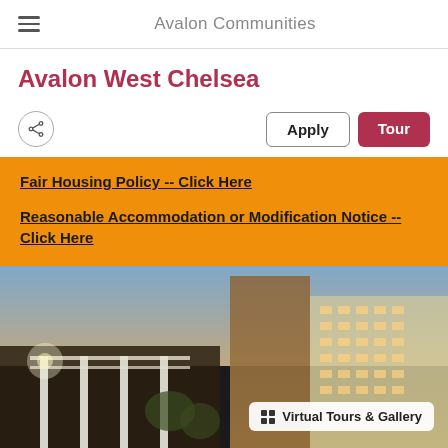Avalon Communities
Avalon West Chelsea
Apply | Tour
Fair Housing Policy -- Click Here
Reasonable Accommodation or Modification Notice -- Click Here
[Figure (photo): Exterior photo of Avalon West Chelsea luxury apartment building at dusk, showing modern glass high-rise architecture with city skyline in background. Overlay button reads 'Virtual Tours & Gallery'.]